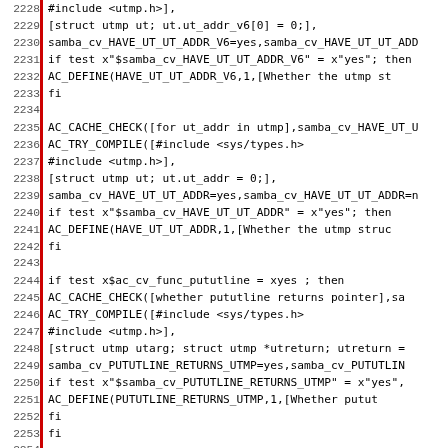[Figure (screenshot): Source code listing (shell/autoconf script) showing lines 2228-2259 with line numbers on the left and a red vertical bar separator. Code includes AC_CACHE_CHECK and AC_TRY_COMPILE macros for utmp/utmpx struct member detection.]